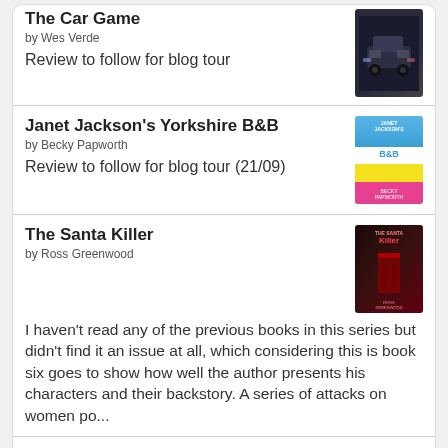The Car Game
by Wes Verde
Review to follow for blog tour
Janet Jackson's Yorkshire B&B
by Becky Papworth
Review to follow for blog tour (21/09)
The Santa Killer
by Ross Greenwood
I haven't read any of the previous books in this series but didn't find it an issue at all, which considering this is book six goes to show how well the author presents his characters and their backstory. A series of attacks on women po...
[Figure (logo): goodreads logo button]
Facebook